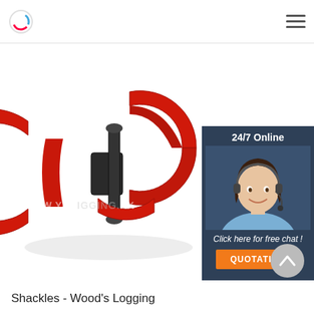[Figure (photo): Red metal chain shackle connector link photographed against a white background. Two C-shaped red links are connected by a black cylindrical pin through their centers. A watermark reads WWW.YARIGGING.XX across the image.]
[Figure (infographic): 24/7 Online chat widget overlay showing a female customer service agent wearing a headset, with text 'Click here for free chat!' and an orange QUOTATION button, on a dark navy background.]
Shackles - Wood's Logging